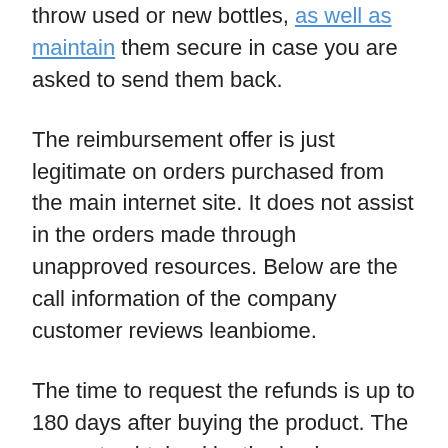throw used or new bottles, as well as maintain them secure in case you are asked to send them back.
The reimbursement offer is just legitimate on orders purchased from the main internet site. It does not assist in the orders made through unapproved resources. Below are the call information of the company customer reviews leanbiome.
The time to request the refunds is up to 180 days after buying the product. The requests obtained by the business hereafter time will not be considered or authorized. So enjoy the timeline carefully. Plus, this time suffices to see the weight-loss and also metabolic changes in the body. Stay with the